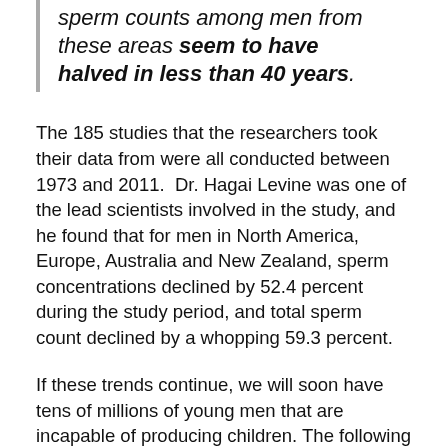sperm counts among men from these areas seem to have halved in less than 40 years.
The 185 studies that the researchers took their data from were all conducted between 1973 and 2011. Dr. Hagai Levine was one of the lead scientists involved in the study, and he found that for men in North America, Europe, Australia and New Zealand, sperm concentrations declined by 52.4 percent during the study period, and total sperm count declined by a whopping 59.3 percent.
If these trends continue, we will soon have tens of millions of young men that are incapable of producing children. The following comes from